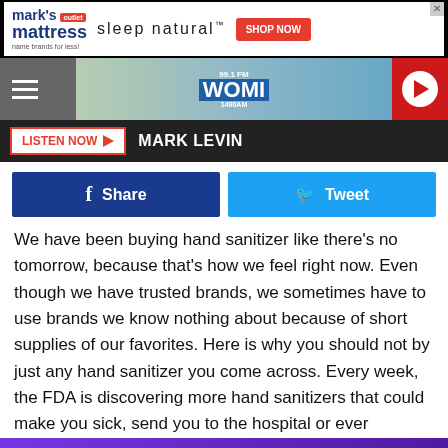[Figure (screenshot): Mark's Mattress outlet advertisement banner: 'sleep natural™ SHOP NOW']
[Figure (screenshot): WOMI 99.1 FM / 1490 AM radio station navigation bar with hamburger menu and play button]
[Figure (screenshot): LISTEN NOW button with Mark Levin text on dark bar]
[Figure (screenshot): Facebook Share and Twitter Tweet social share buttons]
We have been buying hand sanitizer like there's no tomorrow, because that's how we feel right now. Even though we have trusted brands, we sometimes have to use brands we know nothing about because of short supplies of our favorites. Here is why you should not by just any hand sanitizer you come across. Every week, the FDA is discovering more hand sanitizers that could make you sick, send you to the hospital or ever
[Figure (screenshot): BitLife Real Choices advertisement banner at the bottom]